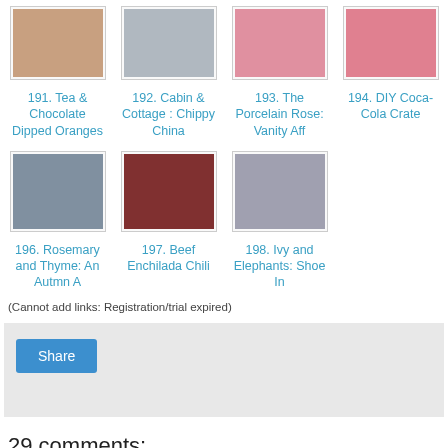[Figure (screenshot): Grid row of 4 blog link thumbnails: items 191-194 with colored image placeholders and blue link titles]
[Figure (screenshot): Grid row of 3 blog link thumbnails: items 196-198 with colored image placeholders and blue link titles]
(Cannot add links: Registration/trial expired)
[Figure (screenshot): Gray share bar with a blue Share button]
29 comments:
Unknown November 06, 2014 6:09 PM